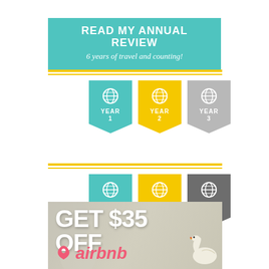READ MY ANNUAL REVIEW
6 years of travel and counting!
[Figure (infographic): Six ribbon badge icons labeled YEAR 1 through YEAR 6, arranged in two rows of three. Year 1 and 4 are teal, Year 2 and 5 are yellow, Year 3 is light gray, Year 6 is dark gray. Each badge has a globe icon.]
[Figure (infographic): Airbnb promotional banner with text GET $35 OFF and the Airbnb logo with a swan image, on a muted green/gray background.]